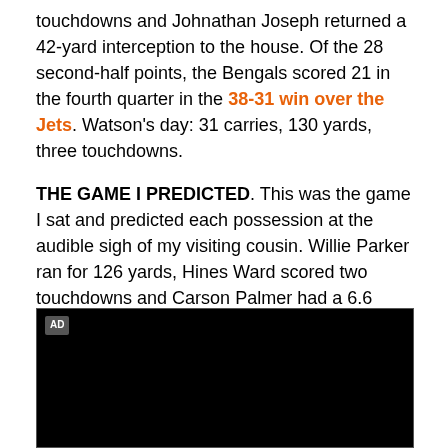touchdowns and Johnathan Joseph returned a 42-yard interception to the house. Of the 28 second-half points, the Bengals scored 21 in the fourth quarter in the 38-31 win over the Jets. Watson's day: 31 carries, 130 yards, three touchdowns.
THE GAME I PREDICTED. This was the game I sat and predicted each possession at the audible sigh of my visiting cousin. Willie Parker ran for 126 yards, Hines Ward scored two touchdowns and Carson Palmer had a 6.6 yards-per-attempt average. What's that spell? L-O-S-S, loss, loss, loss.
[Figure (other): Black advertisement box with AD label in top-left corner]